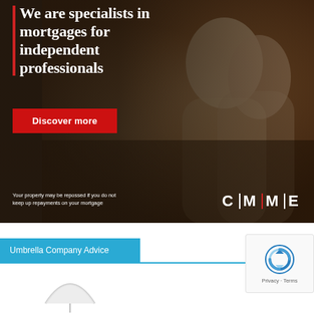[Figure (photo): CMME mortgage advertisement banner. Background shows a couple embracing and smiling. Text overlay reads 'We are specialists in mortgages for independent professionals' with a red left border bar. Red button 'Discover more'. Bottom: disclaimer text and CMME logo with red/white separator bars.]
Umbrella Company Advice
[Figure (illustration): Partial umbrella icon visible at the bottom of the page, white/grey color.]